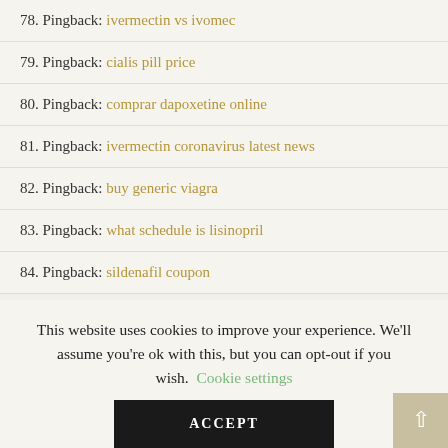78. Pingback: ivermectin vs ivomec
79. Pingback: cialis pill price
80. Pingback: comprar dapoxetine online
81. Pingback: ivermectin coronavirus latest news
82. Pingback: buy generic viagra
83. Pingback: what schedule is lisinopril
84. Pingback: sildenafil coupon
This website uses cookies to improve your experience. We'll assume you're ok with this, but you can opt-out if you wish.  Cookie settings  ACCEPT